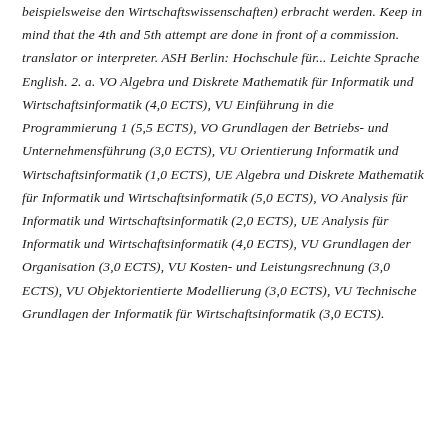beispielsweise den Wirtschaftswissenschaften) erbracht werden. Keep in mind that the 4th and 5th attempt are done in front of a commission. translator or interpreter. ASH Berlin: Hochschule für... Leichte Sprache English. 2. a. VO Algebra und Diskrete Mathematik für Informatik und Wirtschaftsinformatik (4,0 ECTS), VU Einführung in die Programmierung 1 (5,5 ECTS), VO Grundlagen der Betriebs- und Unternehmensführung (3,0 ECTS), VU Orientierung Informatik und Wirtschaftsinformatik (1,0 ECTS), UE Algebra und Diskrete Mathematik für Informatik und Wirtschaftsinformatik (5,0 ECTS), VO Analysis für Informatik und Wirtschaftsinformatik (2,0 ECTS), UE Analysis für Informatik und Wirtschaftsinformatik (4,0 ECTS), VU Grundlagen der Organisation (3,0 ECTS), VU Kosten- und Leistungsrechnung (3,0 ECTS), VU Objektorientierte Modellierung (3,0 ECTS), VU Technische Grundlagen der Informatik für Wirtschaftsinformatik (3,0 ECTS).